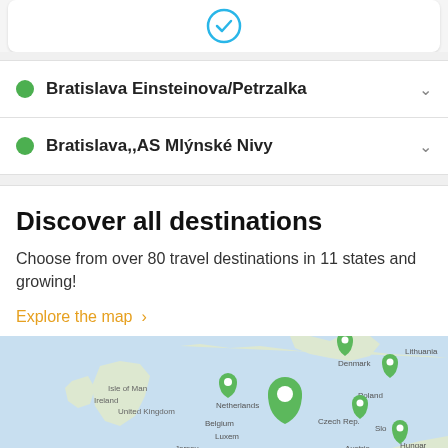[Figure (screenshot): Top card with a circular icon (blue outline circle with checkmark or similar symbol) on white card background]
Bratislava Einsteinova/Petrzalka
Bratislava,,AS Mlýnské Nivy
Discover all destinations
Choose from over 80 travel destinations in 11 states and growing!
Explore the map  >
[Figure (map): Map of Europe showing travel destinations marked with green location pin icons. Countries visible include United Kingdom, Denmark, Lithuania, Netherlands, Belgium, Luxembourg, Germany, Poland, Czech Republic, Slovakia, Austria, Hungary, Switzerland, and parts of surrounding regions. Multiple green pins mark destinations.]